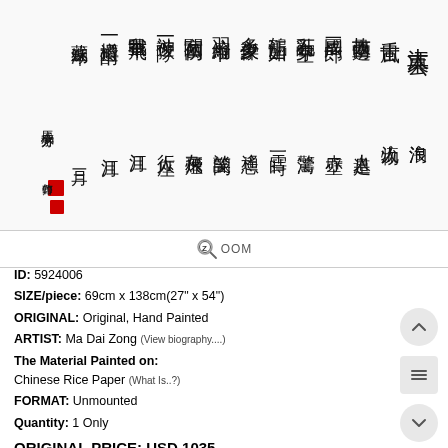[Figure (photo): Chinese calligraphy artwork showing cursive script characters written in black ink on white/light paper, arranged in vertical columns read right to left]
ZOOM
ID: 5924006
SIZE/piece: 69cm x 138cm(27 x 54)
ORIGINAL: Original, Hand Painted
ARTIST: Ma Dai Zong (View biography....)
The Material Painted on: Chinese Rice Paper (What Is..?)
FORMAT: Unmounted
Quantity: 1 Only
ORIGINAL PRICE: USD 1035
Discount: 7% Off! Happy Double Seven Festival!